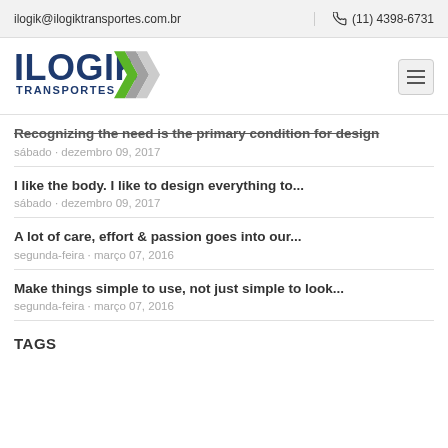ilogik@ilogiktransportes.com.br   (11) 4398-6731
[Figure (logo): ILOGIK TRANSPORTES logo with green and grey chevron arrows]
Recognizing the need is the primary condition for design
sábado · dezembro 09, 2017
I like the body. I like to design everything to...
sábado · dezembro 09, 2017
A lot of care, effort & passion goes into our...
segunda-feira · março 07, 2016
Make things simple to use, not just simple to look...
segunda-feira · março 07, 2016
TAGS